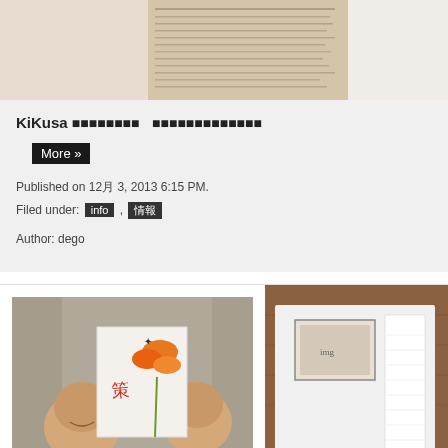[Figure (photo): Partial view of handwritten manuscript pages on light background]
KiKusa xxxxxxxx　xxxxxxxxxxxxxx
More »
Published on 12月 3, 2013 6:15 PM.
Filed under: info , 情報
Author: dego
[Figure (photo): Two children smiling, holding a paper with drawings and an orange flower]
90th dego film photo contest
More »
[Figure (photo): Partial view of wooden wall with framed items and calendar]